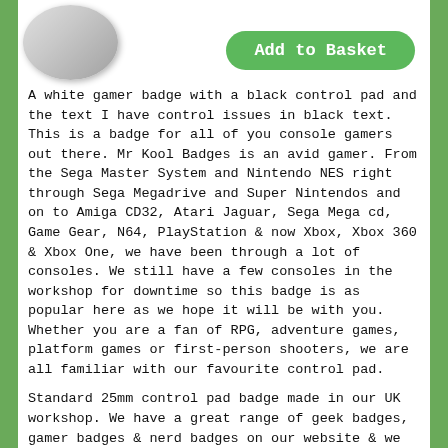[Figure (photo): Partial view of a white gamer badge with a circular shape, silver/grey coloring, shown in the top-left corner of the page.]
[Figure (other): Green rounded 'Add to Basket' button in the top-right area of the page.]
A white gamer badge with a black control pad and the text I have control issues in black text. This is a badge for all of you console gamers out there. Mr Kool Badges is an avid gamer. From the Sega Master System and Nintendo NES right through Sega Megadrive and Super Nintendos and on to Amiga CD32, Atari Jaguar, Sega Mega cd, Game Gear, N64, PlayStation & now Xbox, Xbox 360 & Xbox One, we have been through a lot of consoles. We still have a few consoles in the workshop for downtime so this badge is as popular here as we hope it will be with you. Whether you are a fan of RPG, adventure games, platform games or first-person shooters, we are all familiar with our favourite control pad.
Standard 25mm control pad badge made in our UK workshop. We have a great range of geek badges, gamer badges & nerd badges on our website & we are always open to new suggestions so get in touch on social or via email.
The badges for sale here on our website are 1 inch (25mm) button badges. These are the most popular size & type of badge. Our badges are traditional pin back style badges with a copper pin fastening on the rear.
All of the button badges on Kool Badges are hand made in our